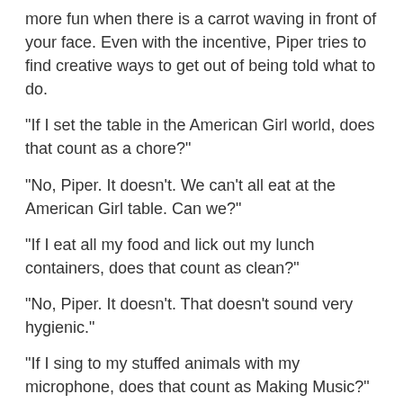more fun when there is a carrot waving in front of your face. Even with the incentive, Piper tries to find creative ways to get out of being told what to do.
“If I set the table in the American Girl world, does that count as a chore?”
“No, Piper. It doesn’t. We can’t all eat at the American Girl table. Can we?”
“If I eat all my food and lick out my lunch containers, does that count as clean?”
“No, Piper. It doesn’t. That doesn’t sound very hygienic.”
“If I sing to my stuffed animals with my microphone, does that count as Making Music?”